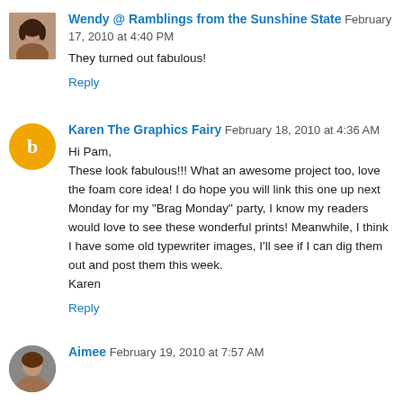[Figure (photo): Avatar photo of Wendy, a woman with dark hair]
Wendy @ Ramblings from the Sunshine State February 17, 2010 at 4:40 PM
They turned out fabulous!
Reply
[Figure (logo): Blogger orange circle logo with white 'b' icon]
Karen The Graphics Fairy February 18, 2010 at 4:36 AM
Hi Pam,
These look fabulous!!! What an awesome project too, love the foam core idea! I do hope you will link this one up next Monday for my "Brag Monday" party, I know my readers would love to see these wonderful prints! Meanwhile, I think I have some old typewriter images, I'll see if I can dig them out and post them this week.
Karen
Reply
[Figure (photo): Avatar photo of Aimee]
Aimee February 19, 2010 at 7:57 AM